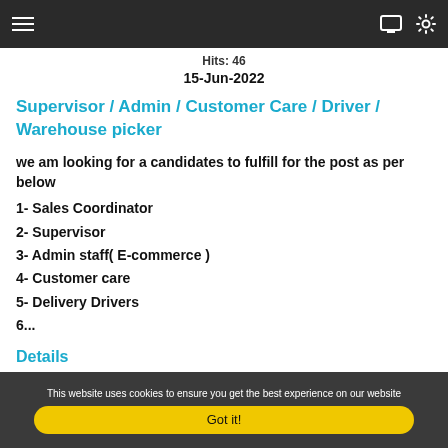☰  [monitor icon] [settings icon]
Hits: 46
15-Jun-2022
Supervisor / Admin / Customer Care / Driver / Warehouse picker
we am looking for a candidates to fulfill for the post as per below
1- Sales Coordinator
2- Supervisor
3- Admin staff( E-commerce )
4- Customer care
5- Delivery Drivers
6...
Details
This website uses cookies to ensure you get the best experience on our website
Got it!